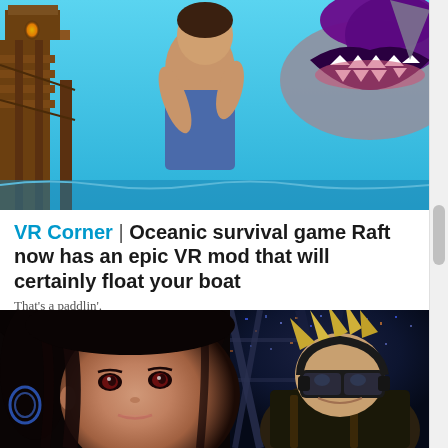[Figure (screenshot): Game screenshot from Raft VR mod showing a person being grabbed by a large shark, with a wooden structure in the background against a blue ocean sky]
VR Corner | Oceanic survival game Raft now has an epic VR mod that will certainly float your boat
That's a paddlin'.
[Figure (screenshot): Split screenshot showing Tifa Lockhart (dark-haired female character with red eyes) on the left, and Cloud Strife wearing a VR headset on the right, from Final Fantasy VII Remake]